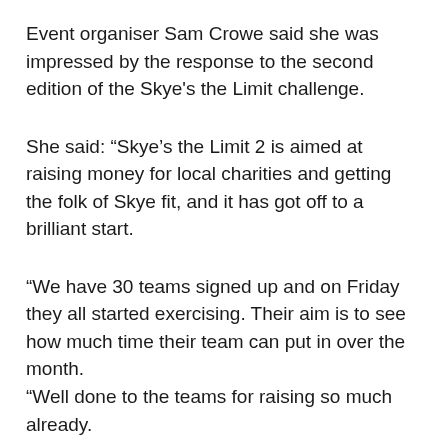Event organiser Sam Crowe said she was impressed by the response to the second edition of the Skye's the Limit challenge.
She said: “Skye’s the Limit 2 is aimed at raising money for local charities and getting the folk of Skye fit, and it has got off to a brilliant start.
“We have 30 teams signed up and on Friday they all started exercising. Their aim is to see how much time their team can put in over the month.
“Well done to the teams for raising so much already.
“We have had lots of positive feedback from the teams involved.”